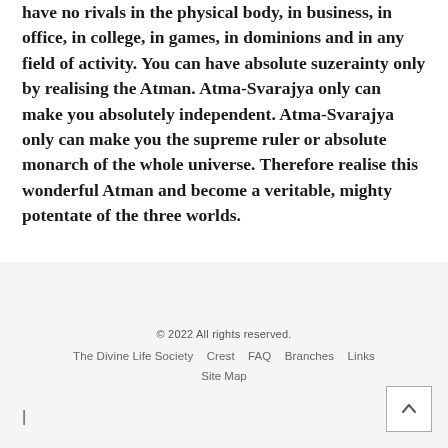have no rivals in the physical body, in business, in office, in college, in games, in dominions and in any field of activity. You can have absolute suzerainty only by realising the Atman. Atma-Svarajya only can make you absolutely independent. Atma-Svarajya only can make you the supreme ruler or absolute monarch of the whole universe. Therefore realise this wonderful Atman and become a veritable, mighty potentate of the three worlds.
© 2022 All rights reserved.
The Divine Life Society  Crest  FAQ  Branches  Links
Site Map